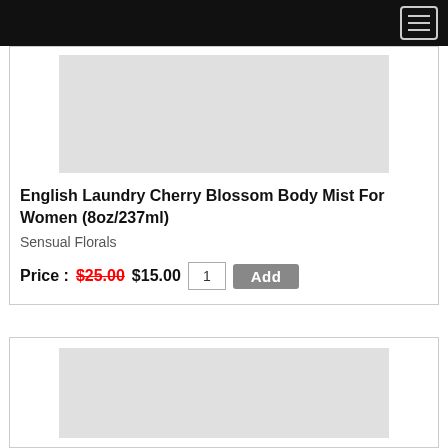[Figure (screenshot): Black navigation bar with hamburger menu button (three horizontal lines) in top right corner]
[Figure (photo): Product image placeholder (light gray rectangle) for English Laundry Cherry Blossom Body Mist]
English Laundry Cherry Blossom Body Mist For Women (8oz/237ml)
Sensual Florals
Price : $25.00 $15.00  1  Add
[Figure (photo): Second product image placeholder (light gray rectangle) partially visible at bottom of page]